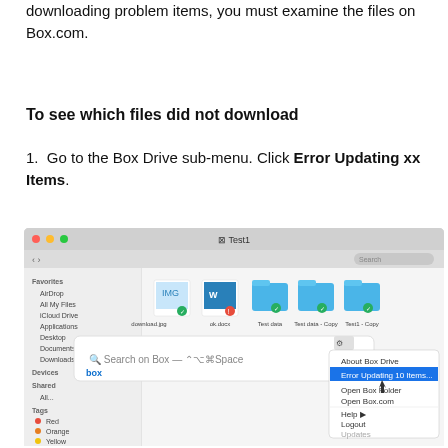downloading problem items, you must examine the files on Box.com.
To see which files did not download
1. Go to the Box Drive sub-menu. Click Error Updating xx Items.
[Figure (screenshot): macOS Finder window showing Box Drive files (download.jpg, ok.docx, Test data folder, Test data - Copy folder, Test1 - Copy folder) with a Box Drive sub-menu open showing options: About Box Drive, Error Updating 10 Items (highlighted), Open Box Folder, Open Box.com, Help, Logout, Updates, Quit. Also shows a Box search bar overlay with text 'Search on Box — ⌃⌥⌘Space'.]